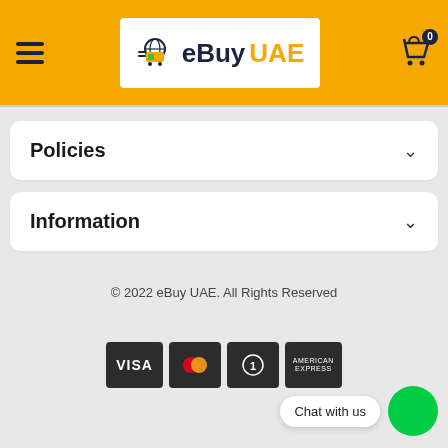[Figure (logo): eBuy UAE logo with shopping cart icon on white background, inside orange header bar with hamburger menu and cart icon]
Policies
Information
© 2022 eBuy UAE. All Rights Reserved
[Figure (other): Payment method icons: VISA, MasterCard, Diner's Club, American Express]